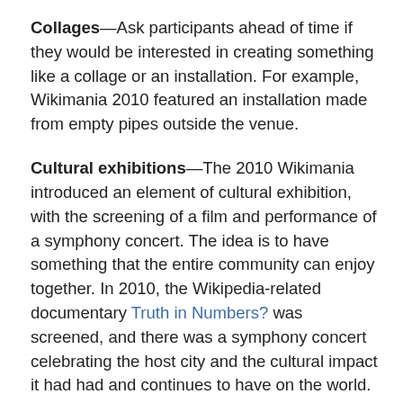Collages—Ask participants ahead of time if they would be interested in creating something like a collage or an installation. For example, Wikimania 2010 featured an installation made from empty pipes outside the venue.
Cultural exhibitions—The 2010 Wikimania introduced an element of cultural exhibition, with the screening of a film and performance of a symphony concert. The idea is to have something that the entire community can enjoy together. In 2010, the Wikipedia-related documentary Truth in Numbers? was screened, and there was a symphony concert celebrating the host city and the cultural impact it had had and continues to have on the world.
Quiz—You can consider having small quiz sessions to give out merchandise. The questions could be related to